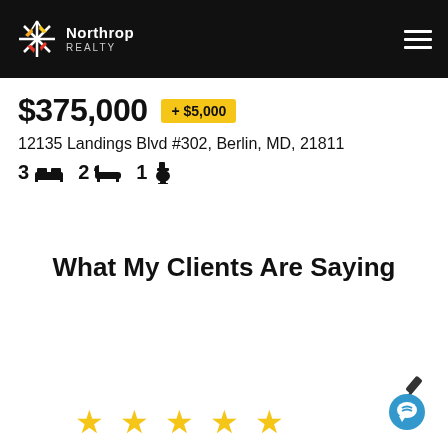[Figure (logo): Northrop Realty logo with star burst icon on black header bar]
$375,000  + $5,000
12135 Landings Blvd #302, Berlin, MD, 21811
3 beds  2 baths  1 half bath
What My Clients Are Saying
[Figure (other): Five gold star rating icons]